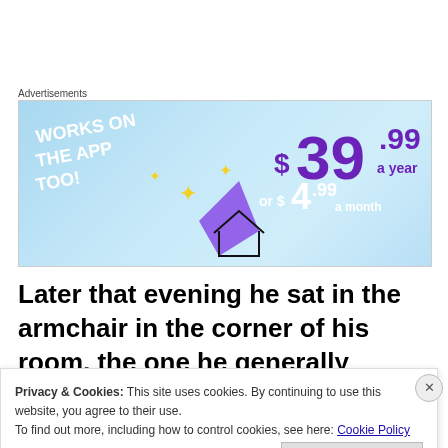Advertisements
[Figure (other): Advertisement banner showing 'WORKS ON THE APP TOO!' with pricing of $39.99 a year or $4.99 a month, blue background with stars and decorative elements]
Later that evening he sat in the armchair in the corner of his room, the one he generally reserved for smoking fine cigars in and writing poetry. But he was not smoking. He had a piece of paper in his hand,
Privacy & Cookies: This site uses cookies. By continuing to use this website, you agree to their use.
To find out more, including how to control cookies, see here: Cookie Policy
Close and accept